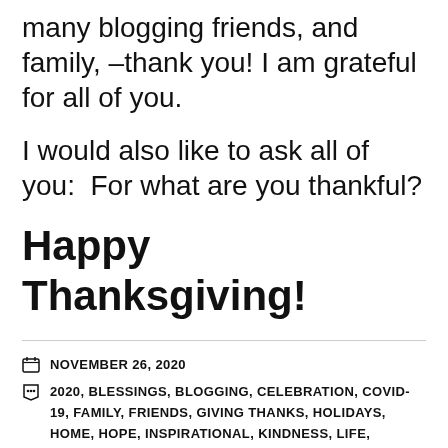many blogging friends, and family, –thank you! I am grateful for all of you.
I would also like to ask all of you:  For what are you thankful?
Happy Thanksgiving!
NOVEMBER 26, 2020
2020, BLESSINGS, BLOGGING, CELEBRATION, COVID-19, FAMILY, FRIENDS, GIVING THANKS, HOLIDAYS, HOME, HOPE, INSPIRATIONAL, KINDNESS, LIFE, MEANING, PANDEMIC, POSITIVE, THANKS, THANKSGIVING
39 COMMENTS